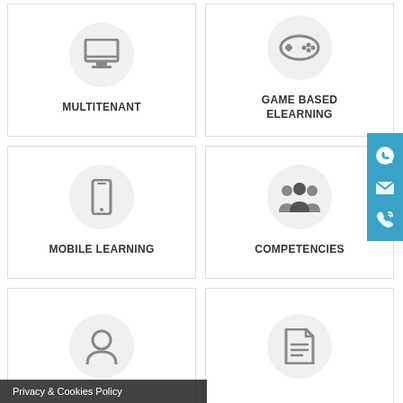[Figure (infographic): Grid of feature cards: Multitenant (monitor icon), Game Based Elearning (gamepad icon), Mobile Learning (mobile phone icon), Competencies (people/group icon), user icon card, document icon card]
MULTITENANT
GAME BASED ELEARNING
MOBILE LEARNING
COMPETENCIES
Privacy & Cookies Policy